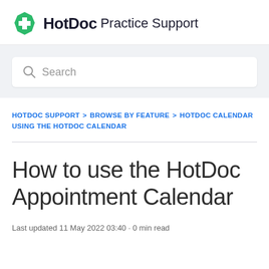HotDoc Practice Support
[Figure (logo): HotDoc green hexagon logo with white cross, followed by bold HotDoc text and Practice Support subtitle]
Search
HOTDOC SUPPORT > BROWSE BY FEATURE > HOTDOC CALENDAR > USING THE HOTDOC CALENDAR
How to use the HotDoc Appointment Calendar
Last updated 11 May 2022 03:40 · 0 min read